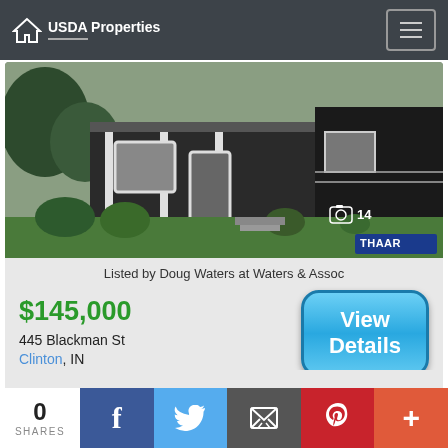USDA Properties
[Figure (photo): Exterior photo of a dark-sided house with white porch pillars, green lawn, and landscaping. Photo count badge showing camera icon and 14. THAAR logo in bottom right.]
Listed by Doug Waters at Waters & Assoc
$145,000
445 Blackman St
Clinton, IN
View Details
0
SHARES